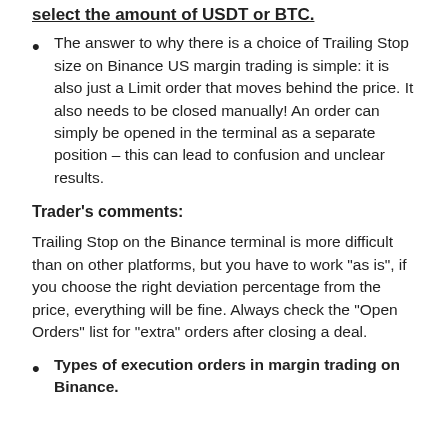select the amount of USDT or BTC.
The answer to why there is a choice of Trailing Stop size on Binance US margin trading is simple: it is also just a Limit order that moves behind the price. It also needs to be closed manually! An order can simply be opened in the terminal as a separate position – this can lead to confusion and unclear results.
Trader's comments:
Trailing Stop on the Binance terminal is more difficult than on other platforms, but you have to work "as is", if you choose the right deviation percentage from the price, everything will be fine. Always check the "Open Orders" list for "extra" orders after closing a deal.
Types of execution orders in margin trading on Binance.